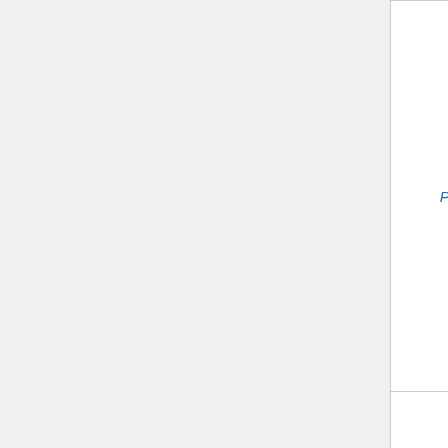| Species | Gene/Protein | References |
| --- | --- | --- |
| Panonychus citri | Elongation factor-1 alpha | D... S... S... |
| Raphanus sativus | Translation elongation factor 2 | D... &... D... S... |
| Sesamia inferens | Elongation factor 1 | D... &... S... |